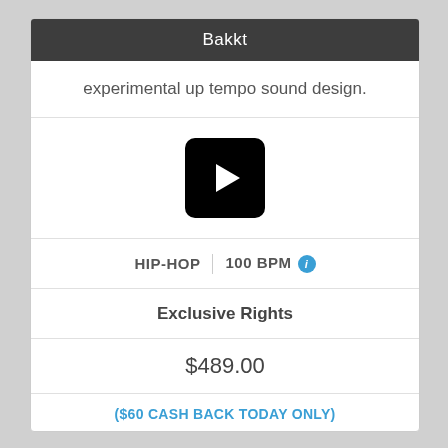Bakkt
experimental up tempo sound design.
[Figure (other): Black rounded rectangle play button with white triangle]
HIP-HOP | 100 BPM
Exclusive Rights
$489.00
($60 CASH BACK TODAY ONLY)
Buy it now $429.00